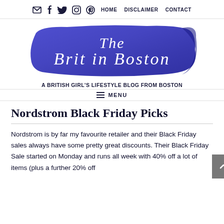Social icons (email, facebook, twitter, instagram, pinterest) | HOME  DISCLAIMER  CONTACT
[Figure (logo): The Brit in Boston blog logo — white cursive script on a watercolor blue/purple brushstroke banner]
A BRITISH GIRL'S LIFESTYLE BLOG FROM BOSTON
≡ MENU
Nordstrom Black Friday Picks
Nordstrom is by far my favourite retailer and their Black Friday sales always have some pretty great discounts. Their Black Friday Sale started on Monday and runs all week with 40% off a lot of items (plus a further 20% off